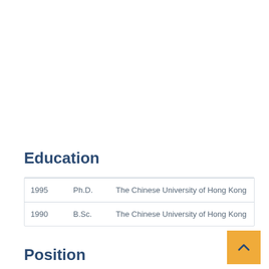Education
| Year | Degree | Institution |
| --- | --- | --- |
| 1995 | Ph.D. | The Chinese University of Hong Kong |
| 1990 | B.Sc. | The Chinese University of Hong Kong |
Position